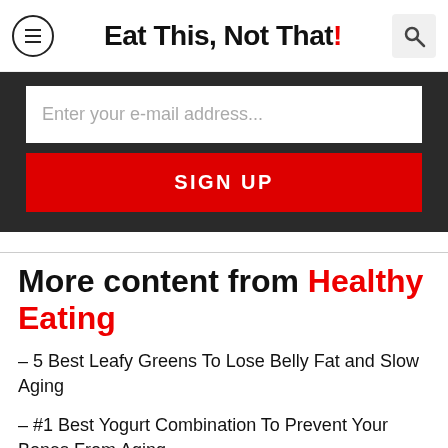Eat This, Not That!
Enter your e-mail address...
SIGN UP
More content from Healthy Eating
– 5 Best Leafy Greens To Lose Belly Fat and Slow Aging
– #1 Best Yogurt Combination To Prevent Your Bones From Aging